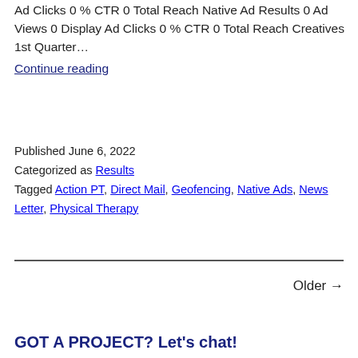Ad Clicks 0 % CTR 0 Total Reach Native Ad Results 0 Ad Views 0 Display Ad Clicks 0 % CTR 0 Total Reach Creatives 1st Quarter…
Continue reading
Published June 6, 2022
Categorized as Results
Tagged Action PT, Direct Mail, Geofencing, Native Ads, News Letter, Physical Therapy
Older →
GOT A PROJECT? Let's chat!